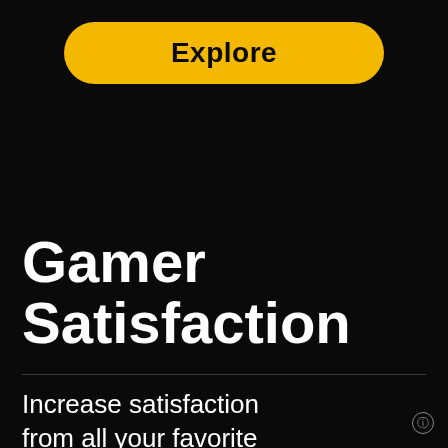[Figure (other): Yellow rounded button with bold black text 'Explore' on black background]
Gamer Satisfaction
Increase satisfaction from all your favorite